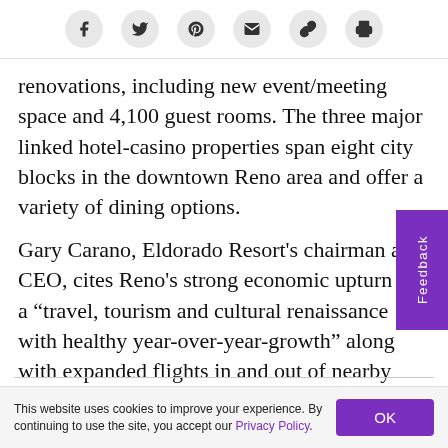[Figure (other): Social share bar with icons: Facebook, Twitter, Pinterest, Email, Link, Print]
renovations, including new event/meeting space and 4,100 guest rooms. The three major linked hotel-casino properties span eight city blocks in the downtown Reno area and offer a variety of dining options.
Gary Carano, Eldorado Resort’s chairman and CEO, cites Reno’s strong economic upturn and a “travel, tourism and cultural renaissance with healthy year-over-year-growth” along with expanded flights in and out of nearby Reno-Tahoe International Airport (RNO) as supporting the climate for these
This website uses cookies to improve your experience. By continuing to use the site, you accept our Privacy Policy.